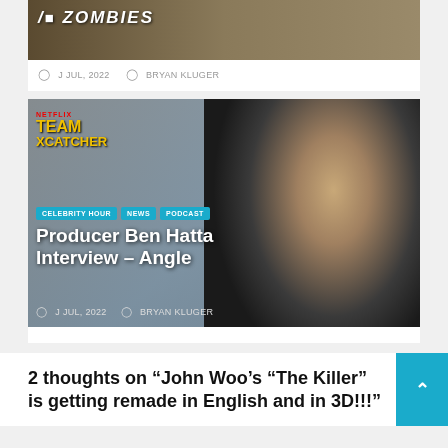[Figure (photo): Partial top image strip showing a movie poster or entertainment content, dark brown/tan tones, partially cropped at top]
J JUL, 2022   BRYAN KLUGER
[Figure (photo): Photo of a young man with curly dark hair smiling, wearing a black shirt, in a room with a Netflix Team Xcatcher poster visible in the background. Tags: CELEBRITY HOUR, NEWS, PODCAST. Title: Producer Ben Hatta Interview – Angle. Date: J JUL, 2022. Author: BRYAN KLUGER]
2 thoughts on “John Woo’s “The Killer” is getting remade in English and in 3D!!!”